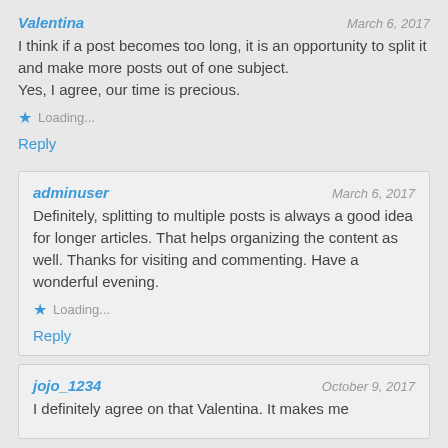Valentina — March 6, 2017
I think if a post becomes too long, it is an opportunity to split it and make more posts out of one subject.
Yes, I agree, our time is precious.
★ Loading...
Reply
adminuser — March 6, 2017
Definitely, splitting to multiple posts is always a good idea for longer articles. That helps organizing the content as well. Thanks for visiting and commenting. Have a wonderful evening.
★ Loading...
Reply
jojo_1234 — October 9, 2017
I definitely agree on that Valentina. It makes me